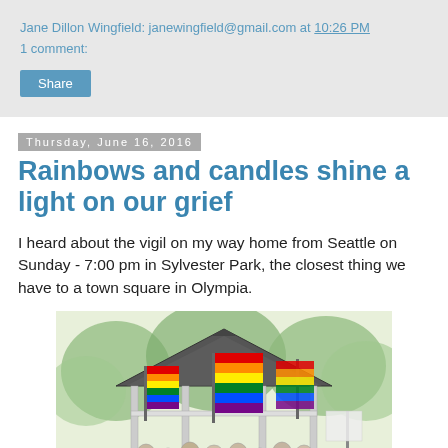Jane Dillon Wingfield: janewingfield@gmail.com at 10:26 PM
1 comment:
Share
Thursday, June 16, 2016
Rainbows and candles shine a light on our grief
I heard about the vigil on my way home from Seattle on Sunday - 7:00 pm in Sylvester Park, the closest thing we have to a town square in Olympia.
[Figure (illustration): Watercolor illustration of a park gazebo/pavilion decorated with rainbow pride flags, surrounded by a crowd of people gathered for a vigil, with green trees in the background.]